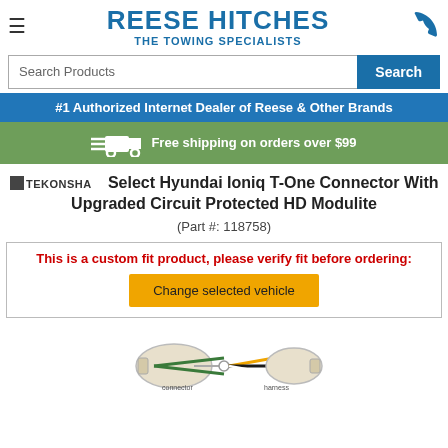REESE HITCHES THE TOWING SPECIALISTS
Search Products
#1 Authorized Internet Dealer of Reese & Other Brands
Free shipping on orders over $99
Tekonsha Select Hyundai Ioniq T-One Connector With Upgraded Circuit Protected HD Modulite
(Part #: 118758)
This is a custom fit product, please verify fit before ordering:
Change selected vehicle
[Figure (photo): Wiring harness connector product image showing T-One connector cables]